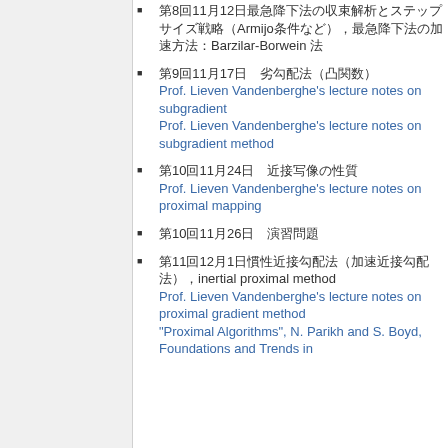第8回 11月12日 最急降下法の収束解析とBarzilar-Borwein 法
第9回 11月17日 劣勾配法
Prof. Lieven Vandenberghe's lecture notes on subgradient
Prof. Lieven Vandenberghe's lecture notes on subgradient method
第10回 11月24日 近接写像の性質
Prof. Lieven Vandenberghe's lecture notes on proximal mapping
第10回 11月26日 演習問題
第11回 12月1日 慣性近接勾配法（加速近接勾配法），inertial proximal method
Prof. Lieven Vandenberghe's lecture notes on proximal gradient method
"Proximal Algorithms", N. Parikh and S. Boyd, Foundations and Trends in